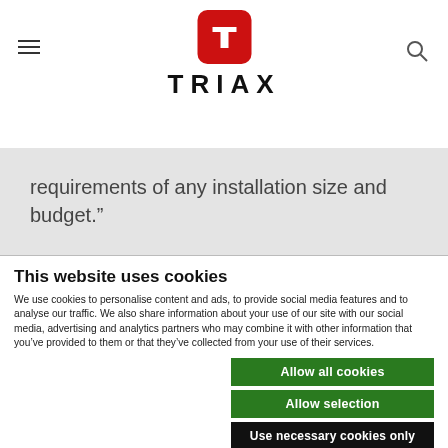TRIAX
requirements of any installation size and budget.”
This website uses cookies
We use cookies to personalise content and ads, to provide social media features and to analyse our traffic. We also share information about your use of our site with our social media, advertising and analytics partners who may combine it with other information that you’ve provided to them or that they’ve collected from your use of their services.
Allow all cookies
Allow selection
Use necessary cookies only
Necessary  Preferences  Statistics  Marketing  Show details